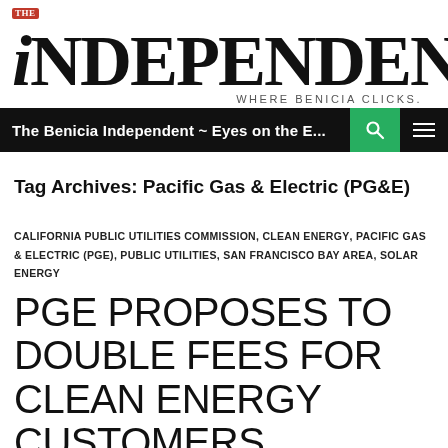THE iNDEPENDENT — WHERE BENICIA CLICKS.
The Benicia Independent ~ Eyes on the E...
Tag Archives: Pacific Gas & Electric (PG&E)
CALIFORNIA PUBLIC UTILITIES COMMISSION, CLEAN ENERGY, PACIFIC GAS & ELECTRIC (PGE), PUBLIC UTILITIES, SAN FRANCISCO BAY AREA, SOLAR ENERGY
PGE PROPOSES TO DOUBLE FEES FOR CLEAN ENERGY CUSTOMERS